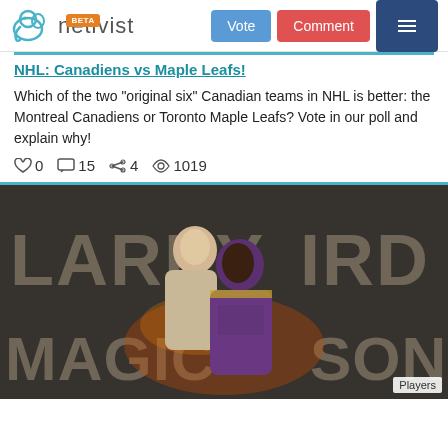netivist BETA — Vote | Comment | Menu
NHL: Canadiens vs Maple Leafs!
Which of the two "original six" Canadian teams in NHL is better: the Montreal Canadiens or Toronto Maple Leafs? Vote in our poll and explain why!
♡ 0  💬 15  ➤ 4  ⊙ 1019
[Figure (photo): Photo composite of basketball players Larry Bird and Magic Johnson with large stylized text reading LARRY BIRD and MAGIC JOHNSON in the background. Players wearing purple and gold Lakers jerseys.]